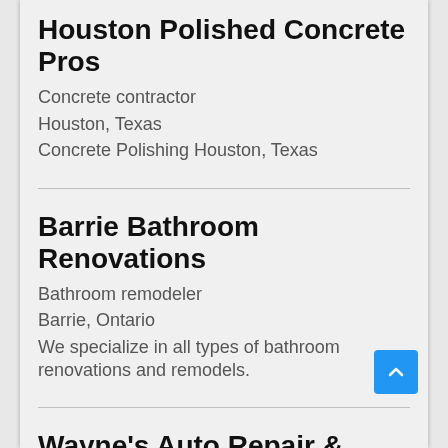Houston Polished Concrete Pros
Concrete contractor
Houston, Texas
Concrete Polishing Houston, Texas
Barrie Bathroom Renovations
Bathroom remodeler
Barrie, Ontario
We specialize in all types of bathroom renovations and remodels.
Wayne's Auto Repair & Towing
Auto repair shop